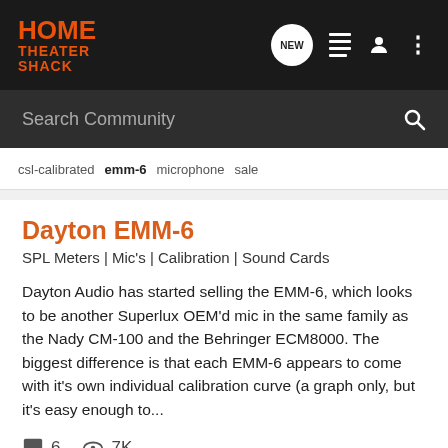HOME THEATER SHACK
Search Community
csl-calibrated
emm-6
microphone
sale
Dayton EMM-6
SPL Meters | Mic's | Calibration | Sound Cards
Dayton Audio has started selling the EMM-6, which looks to be another Superlux OEM'd mic in the same family as the Nady CM-100 and the Behringer ECM8000. The biggest difference is that each EMM-6 appears to come with it's own individual calibration curve (a graph only, but it's easy enough to...
6  7K
Anechoic · Sep 6, 2009
dayton  emm-6